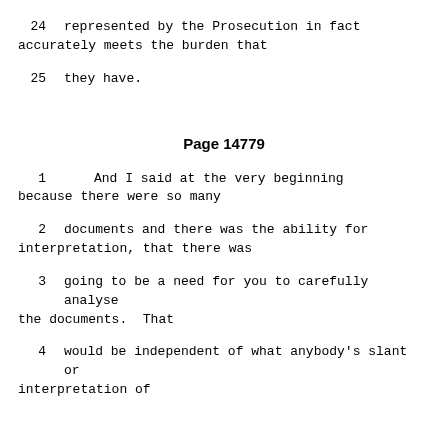24    represented by the Prosecution in fact accurately meets the burden that
25    they have.
Page 14779
1         And I said at the very beginning because there were so many
2    documents and there was the ability for interpretation, that there was
3    going to be a need for you to carefully analyse the documents.  That
4    would be independent of what anybody's slant or interpretation of